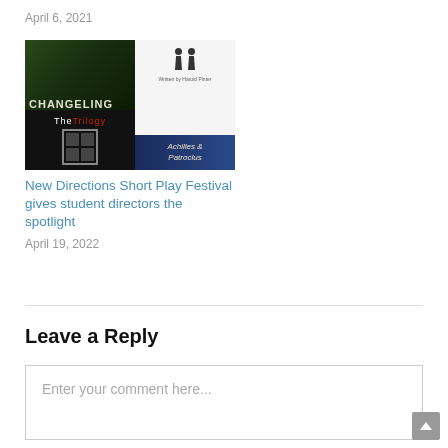April 6, 2021
[Figure (photo): Collage of four theatre/play promotional images: Changeling (dark forest background), a play with two figures icon written by Harold Pinter, The Trilogy with a grid box logo, and Achilles & Patroclus with a blue bird image]
New Directions Short Play Festival gives student directors the spotlight
April 19, 2022
Leave a Reply
Enter your comment here...